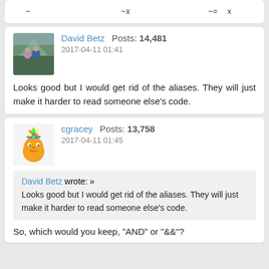~ ~x ~= x
David Betz Posts: 14,481 2017-04-11 01:41
Looks good but I would get rid of the aliases. They will just make it harder to read someone else's code.
cgracey Posts: 13,758 2017-04-11 01:45
David Betz wrote: » Looks good but I would get rid of the aliases. They will just make it harder to read someone else's code.
So, which would you keep, "AND" or "&&"?